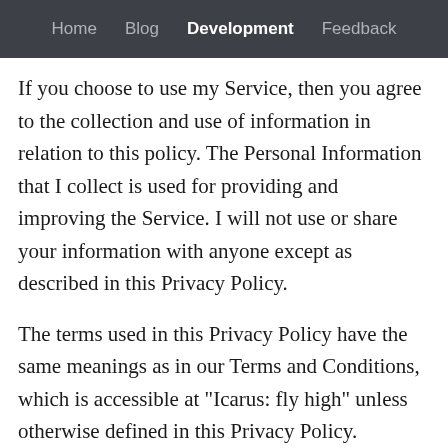Home  Blog  Development  Feedback
If you choose to use my Service, then you agree to the collection and use of information in relation to this policy. The Personal Information that I collect is used for providing and improving the Service. I will not use or share your information with anyone except as described in this Privacy Policy.
The terms used in this Privacy Policy have the same meanings as in our Terms and Conditions, which is accessible at "Icarus: fly high" unless otherwise defined in this Privacy Policy.
Information Collection and Use